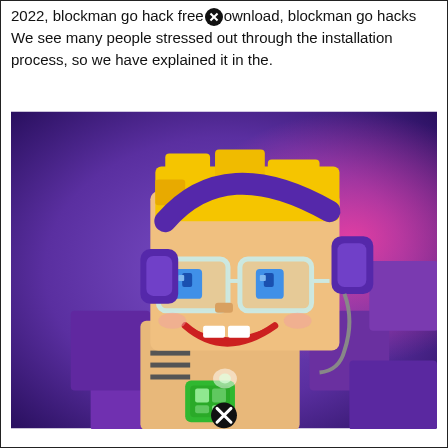2022, blockman go hack free⊗ownload, blockman go hacks We see many people stressed out through the installation process, so we have explained it in the.
[Figure (illustration): 3D cartoon blocky character with yellow hair, purple headphones, pixel-art glasses, smiling, holding a green device, set against a purple and pink space background. A close/X button icon appears at the bottom center of the image.]